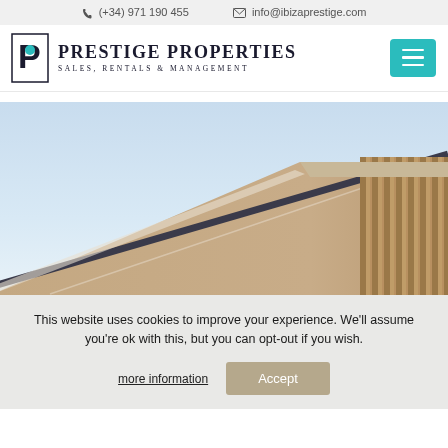(+34) 971 190 455  info@ibizaprestige.com
[Figure (logo): Prestige Properties logo with stylized P icon in teal and black]
PRESTIGE PROPERTIES
SALES, RENTALS & MANAGEMENT
[Figure (photo): Architectural photo showing the roofline of a modern building against a clear blue sky, with angular roof structure and wooden slat details on the right side]
This website uses cookies to improve your experience. We'll assume you're ok with this, but you can opt-out if you wish.
more information
Accept